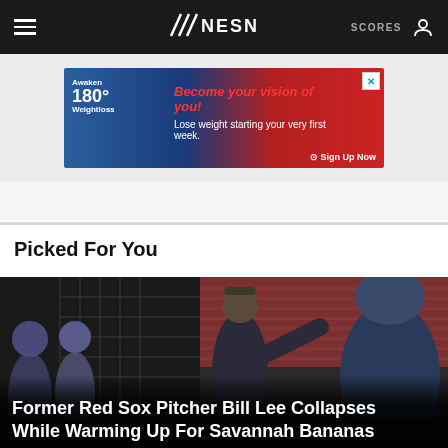NESN — SCORES
[Figure (screenshot): Advertisement banner: Awaken180 Weightloss — Become your vision of you! Lose weight starting your very first week. Sign Up Now.]
Picked For You
[Figure (photo): Group of people including baseball players in caps near a dugout fence at a stadium with red seats, with a man in a dark jacket gesturing while speaking to them.]
Former Red Sox Pitcher Bill Lee Collapses While Warming Up For Savannah Bananas